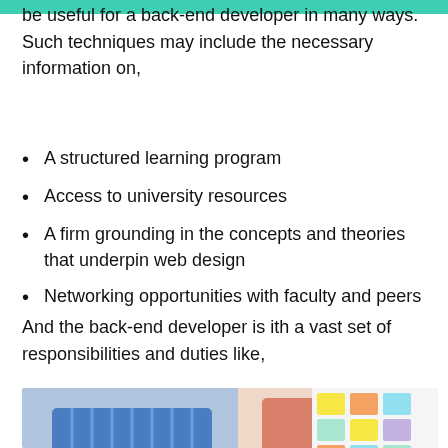be useful for a back-end developer in many ways. Such techniques may include the necessary information on,
A structured learning program
Access to university resources
A firm grounding in the concepts and theories that underpin web design
Networking opportunities with faculty and peers
And the back-end developer is ith a vast set of responsibilities and duties like,
[Figure (photo): Two people collaborating, one in blue striped shirt and one in pink shirt, with colorful sticky notes on a board in the background]